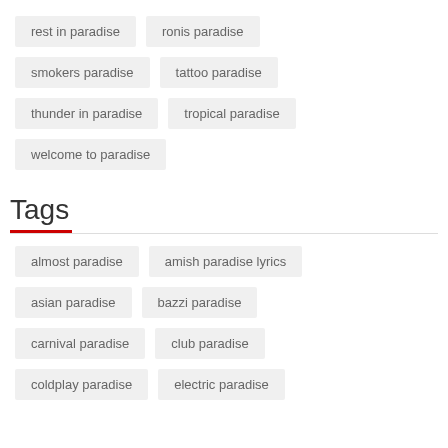rest in paradise
ronis paradise
smokers paradise
tattoo paradise
thunder in paradise
tropical paradise
welcome to paradise
Tags
almost paradise
amish paradise lyrics
asian paradise
bazzi paradise
carnival paradise
club paradise
coldplay paradise
electric paradise